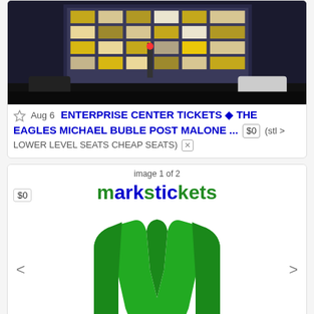[Figure (photo): Photo of a building/arena exterior at night with cars in the foreground]
Aug 6  ENTERPRISE CENTER TICKETS ◆ THE EAGLES MICHAEL BUBLE POST MALONE ...  $0  (stl > LOWER LEVEL SEATS CHEAP SEATS) ✕
[Figure (logo): Markstickets logo with green M graphic and blue/green text]
Aug 6  PITBULL-PEARL JAM-NAS & WU-TANG CLAN TICKETS  $0  (stl > MARK'S TIX CHEAP LOWER LEVEL SEATS QQ